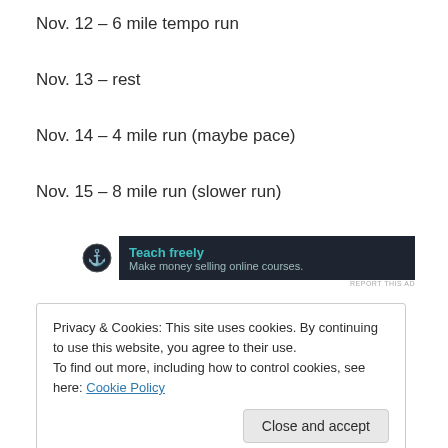Nov. 12 – 6 mile tempo run
Nov. 13 – rest
Nov. 14 – 4 mile run (maybe pace)
Nov. 15 – 8 mile run (slower run)
[Figure (other): Advertisement banner for 'Teach freely – Make money selling online courses.' with dark background and teal text]
Privacy & Cookies: This site uses cookies. By continuing to use this website, you agree to their use.
To find out more, including how to control cookies, see here: Cookie Policy
Close and accept